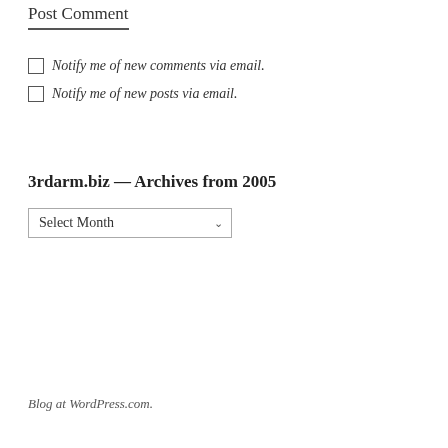Post Comment
Notify me of new comments via email.
Notify me of new posts via email.
3rdarm.biz — Archives from 2005
Select Month
Blog at WordPress.com.